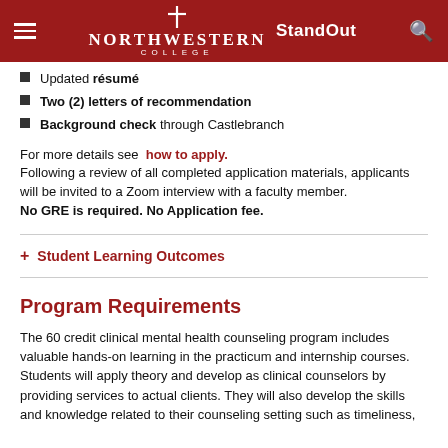Northwestern College | StandOut
Updated résumé
Two (2) letters of recommendation
Background check through Castlebranch
For more details see how to apply.
Following a review of all completed application materials, applicants will be invited to a Zoom interview with a faculty member.
No GRE is required. No Application fee.
Student Learning Outcomes
Program Requirements
The 60 credit clinical mental health counseling program includes valuable hands-on learning in the practicum and internship courses. Students will apply theory and develop as clinical counselors by providing services to actual clients. They will also develop the skills and knowledge related to their counseling setting such as timeliness,